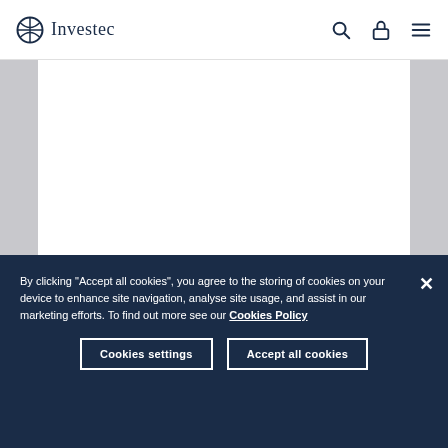Investec
14 Feb 2020
Buying agents: meet the people who help you find the perfect property
By clicking "Accept all cookies", you agree to the storing of cookies on your device to enhance site navigation, analyse site usage, and assist in our marketing efforts. To find out more see our Cookies Policy
Cookies settings
Accept all cookies